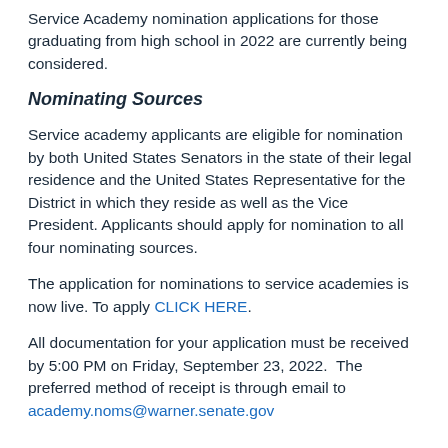Service Academy nomination applications for those graduating from high school in 2022 are currently being considered.
Nominating Sources
Service academy applicants are eligible for nomination by both United States Senators in the state of their legal residence and the United States Representative for the District in which they reside as well as the Vice President. Applicants should apply for nomination to all four nominating sources.
The application for nominations to service academies is now live. To apply CLICK HERE.
All documentation for your application must be received by 5:00 PM on Friday, September 23, 2022.  The preferred method of receipt is through email to academy.noms@warner.senate.gov